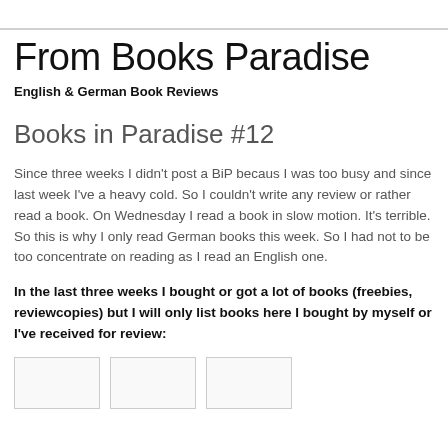From Books Paradise
English & German Book Reviews
Books in Paradise #12
Since three weeks I didn't post a BiP becaus I was too busy and since last week I've a heavy cold. So I couldn't write any review or rather read a book. On Wednesday I read a book in slow motion. It's terrible. So this is why I only read German books this week. So I had not to be too concentrate on reading as I read an English one.
In the last three weeks I bought or got a lot of books (freebies, reviewcopies) but I will only list books here I bought by myself or I've received for review:
[Figure (photo): Three book cover images shown in a row at the bottom of the page]